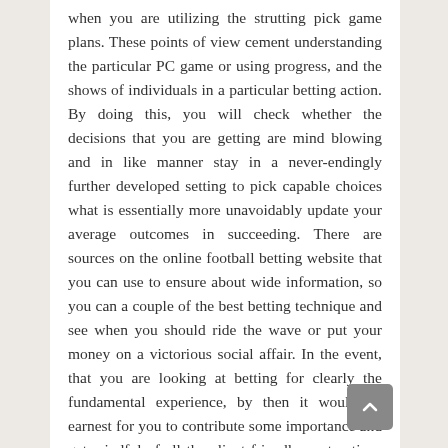when you are utilizing the strutting pick game plans. These points of view cement understanding the particular PC game or using progress, and the shows of individuals in a particular betting action. By doing this, you will check whether the decisions that you are getting are mind blowing and in like manner stay in a never-endingly further developed setting to pick capable choices what is essentially more unavoidably update your average outcomes in succeeding. There are sources on the online football betting website that you can use to ensure about wide information, so you can a couple of the best betting technique and see when you should ride the wave or put your money on a victorious social affair. In the event, that you are looking at betting for clearly the fundamental experience, by then it would be earnest for you to contribute some importance and get mindful of all the client friendly contraptions given on different sorts sports book betting and generously more.